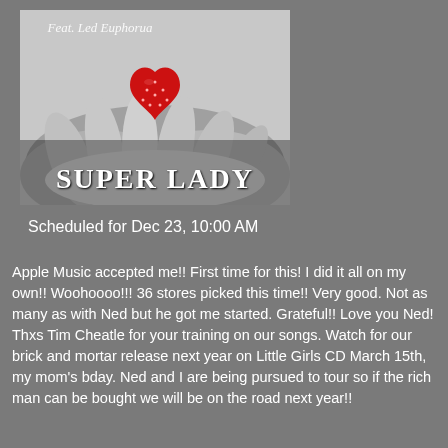[Figure (illustration): Album cover for 'Super Lady' featuring a black and white image of hands holding a red heart-shaped strawberry. Text at top reads 'Feat. Led Euphorua' in cursive. Large bold white serif text reads 'Super Lady' at the bottom of the image.]
Scheduled for Dec 23, 10:00 AM
Apple Music accepted me!! First time for this! I did it all on my own!! Woohoooo!!! 36 stores picked this time!! Very good. Not as many as with Ned but he got me started. Grateful!! Love you Ned! Thxs Tim Cheatle for your training on our songs. Watch for our brick and mortar release next year on Little Girls CD March 15th, my mom's bday. Ned and I are being pursued to tour so if the rich man can be bought we will be on the road next year!!